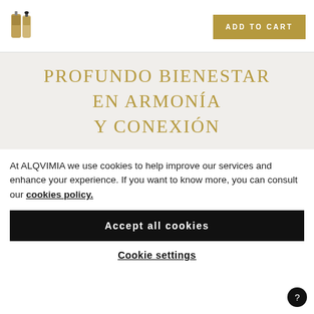[Figure (photo): Two product bottles (Alqvimia brand) shown side by side in small thumbnail]
ADD TO CART
PROFUNDO BIENESTAR EN ARMONÍA Y CONEXIÓN
At ALQVIMIA we use cookies to help improve our services and enhance your experience. If you want to know more, you can consult our cookies policy.
Accept all cookies
Cookie settings